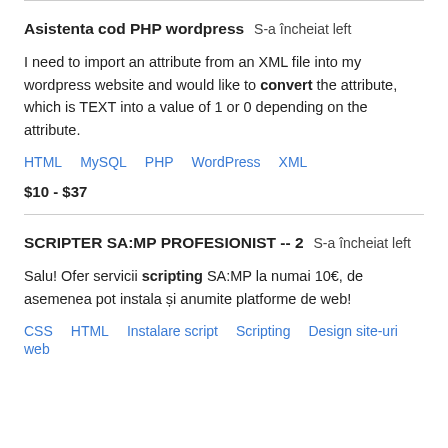Asistenta cod PHP wordpress  S-a încheiat left
I need to import an attribute from an XML file into my wordpress website and would like to convert the attribute, which is TEXT into a value of 1 or 0 depending on the attribute.
HTML   MySQL   PHP   WordPress   XML
$10 - $37
SCRIPTER SA:MP PROFESIONIST -- 2  S-a încheiat left
Salu! Ofer servicii scripting SA:MP la numai 10€, de asemenea pot instala și anumite platforme de web!
CSS   HTML   Instalare script   Scripting   Design site-uri web